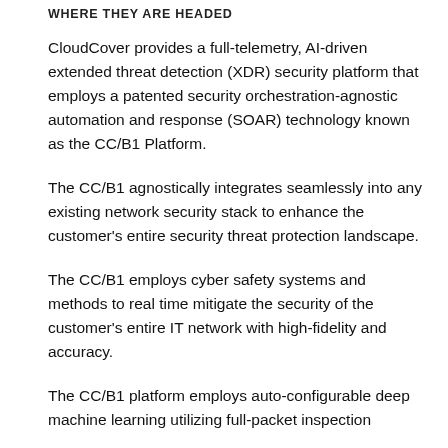WHERE THEY ARE HEADED
CloudCover provides a full-telemetry, AI-driven extended threat detection (XDR) security platform that employs a patented security orchestration-agnostic automation and response (SOAR) technology known as the CC/B1 Platform.
The CC/B1 agnostically integrates seamlessly into any existing network security stack to enhance the customer's entire security threat protection landscape.
The CC/B1 employs cyber safety systems and methods to real time mitigate the security of the customer's entire IT network with high-fidelity and accuracy.
The CC/B1 platform employs auto-configurable deep machine learning utilizing full-packet inspection